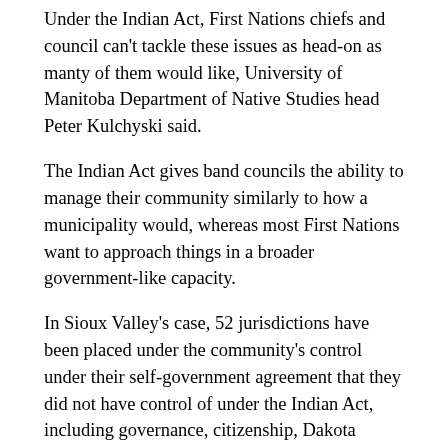Under the Indian Act, First Nations chiefs and council can't tackle these issues as head-on as manty of them would like, University of Manitoba Department of Native Studies head Peter Kulchyski said.
The Indian Act gives band councils the ability to manage their community similarly to how a municipality would, whereas most First Nations want to approach things in a broader government-like capacity.
In Sioux Valley's case, 52 jurisdictions have been placed under the community's control under their self-government agreement that they did not have control of under the Indian Act, including governance, citizenship, Dakota cultural matters, land management, natural resources, education, social development and support services and more.
They might have greater control over these things under self-government, but before they can take full advantage of their newfound powers they'll need money to pay for things.